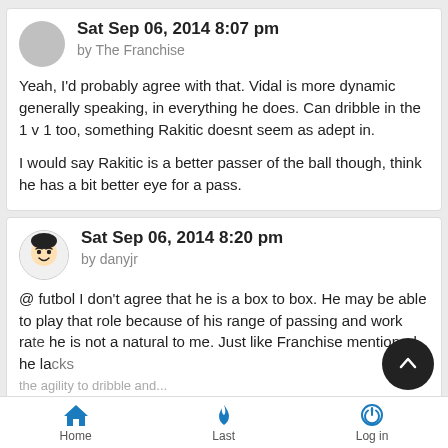Sat Sep 06, 2014 8:07 pm
by The Franchise
Yeah, I'd probably agree with that. Vidal is more dynamic generally speaking, in everything he does. Can dribble in the 1 v 1 too, something Rakitic doesnt seem as adept in.

I would say Rakitic is a better passer of the ball though, think he has a bit better eye for a pass.
Sat Sep 06, 2014 8:20 pm
by danyjr
@ futbol I don't agree that he is a box to box. He may be able to play that role because of his range of passing and work rate he is not a natural to me. Just like Franchise mentioned he lacks the agility to dribble and...
Home  Last  Log in